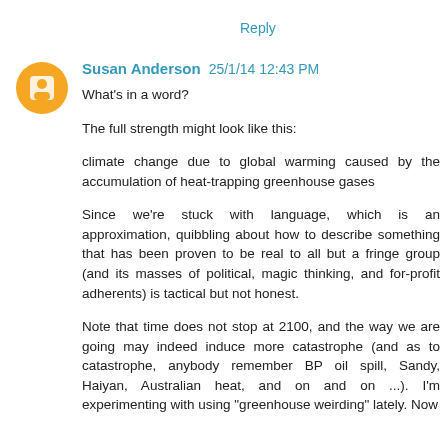Reply
Susan Anderson 25/1/14 12:43 PM
What's in a word?

The full strength might look like this:

climate change due to global warming caused by the accumulation of heat-trapping greenhouse gases

Since we're stuck with language, which is an approximation, quibbling about how to describe something that has been proven to be real to all but a fringe group (and its masses of political, magic thinking, and for-profit adherents) is tactical but not honest.

Note that time does not stop at 2100, and the way we are going may indeed induce more catastrophe (and as to catastrophe, anybody remember BP oil spill, Sandy, Haiyan, Australian heat, and on and on ...). I'm experimenting with using "greenhouse weirding" lately. Now